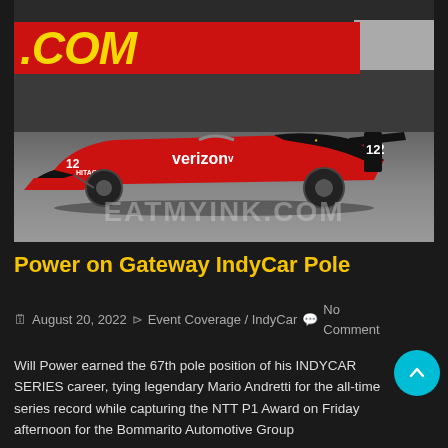[Figure (photo): An IndyCar Series race car #12 with Verizon sponsorship in red and black livery on a race track. A red banner at the top shows '.COM' in yellow italic text. The EATMYINK.COM watermark overlays the lower portion of the image.]
Power on Gateway IndyCar Pole
August 20, 2022  Event Coverage / IndyCar  No Comment
Will Power earned the 67th pole position of his INDYCAR SERIES career, tying legendary Mario Andretti for the all-time series record while capturing the NTT P1 Award on Friday afternoon for the Bommarito Automotive Group